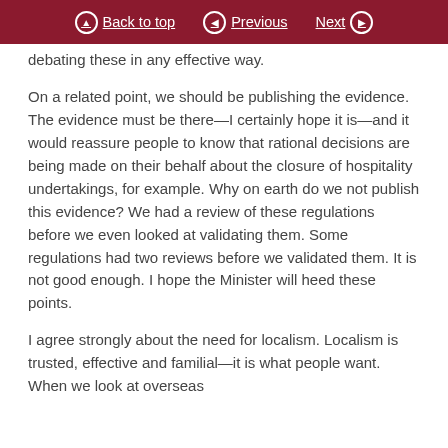Back to top | Previous | Next
debating these in any effective way.
On a related point, we should be publishing the evidence. The evidence must be there—I certainly hope it is—and it would reassure people to know that rational decisions are being made on their behalf about the closure of hospitality undertakings, for example. Why on earth do we not publish this evidence? We had a review of these regulations before we even looked at validating them. Some regulations had two reviews before we validated them. It is not good enough. I hope the Minister will heed these points.
I agree strongly about the need for localism. Localism is trusted, effective and familial—it is what people want. When we look at overseas